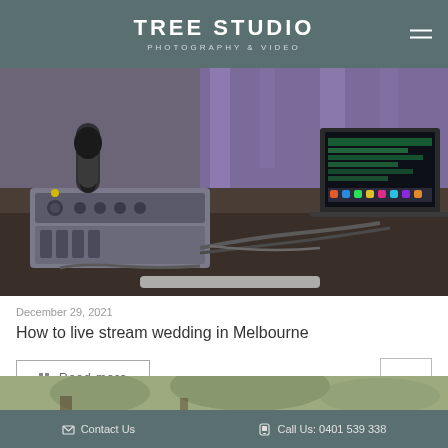TREE STUDIO
PHOTOGRAPHY & VIDEO
[Figure (photo): A table with audio recording equipment including a microphone, mixer/recorder unit with cables, and an open laptop showing video editing software. In the background is a wedding venue with decorative fabric draping and purple lighting.]
December 29, 2021
How to live stream wedding in Melbourne
Read more
[Figure (photo): Partial view of a second photo showing greenery/plants at a venue, bottom strip.]
Contact Us   Call Us: 0401 539 338